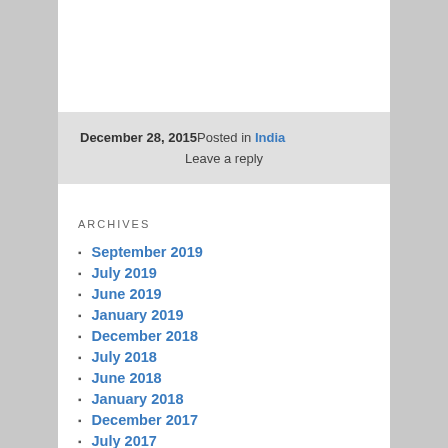December 28, 2015Posted in India
Leave a reply
ARCHIVES
September 2019
July 2019
June 2019
January 2019
December 2018
July 2018
June 2018
January 2018
December 2017
July 2017